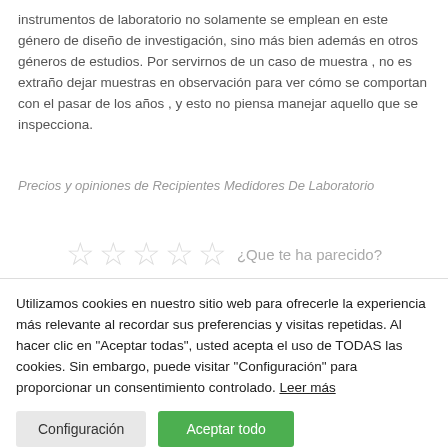instrumentos de laboratorio no solamente se emplean en este género de diseño de investigación, sino más bien además en otros géneros de estudios. Por servirnos de un caso de muestra , no es extraño dejar muestras en observación para ver cómo se comportan con el pasar de los años , y esto no piensa manejar aquello que se inspecciona.
Precios y opiniones de Recipientes Medidores De Laboratorio
[Figure (other): Five empty star rating icons with label '¿Que te ha parecido?']
Utilizamos cookies en nuestro sitio web para ofrecerle la experiencia más relevante al recordar sus preferencias y visitas repetidas. Al hacer clic en "Aceptar todas", usted acepta el uso de TODAS las cookies. Sin embargo, puede visitar "Configuración" para proporcionar un consentimiento controlado. Leer más
Configuración
Aceptar todo